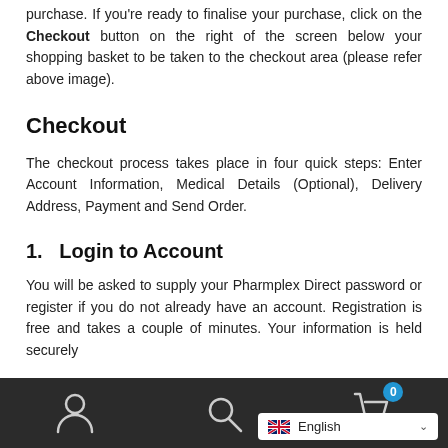purchase. If you're ready to finalise your purchase, click on the Checkout button on the right of the screen below your shopping basket to be taken to the checkout area (please refer above image).
Checkout
The checkout process takes place in four quick steps: Enter Account Information, Medical Details (Optional), Delivery Address, Payment and Send Order.
1.  Login to Account
You will be asked to supply your Pharmplex Direct password or register if you do not already have an account. Registration is free and takes a couple of minutes. Your information is held securely